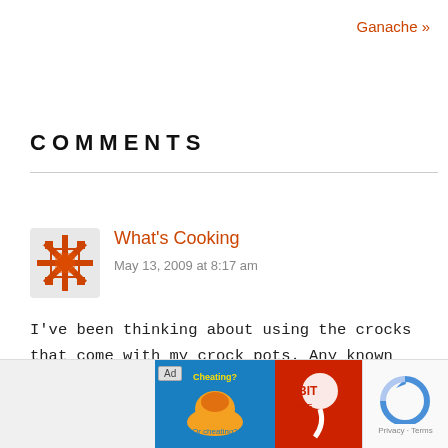Ganache »
COMMENTS
What's Cooking
May 13, 2009 at 8:17 am
I've been thinking about using the crocks that come with my crock pots. Any known reasons on why I should NOT use them??? Or does anyone else use them for fermenting? I'd be curious to know your thoug…
[Figure (screenshot): Advertisement banner: BitLife - Life Simulator app ad with cheating image and sperm icon]